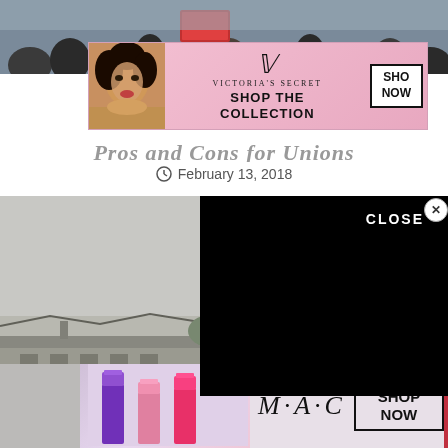[Figure (photo): Crowd of people at a protest or public event, partially visible at top of page]
[Figure (screenshot): Victoria's Secret advertisement banner: model on left, VS logo, 'SHOP THE COLLECTION' text, and 'SHOP NOW' button on pink background]
Pros and Cons for Unions
February 13, 2018
[Figure (photo): Black and white photograph of a prison guard tower with barbed wire fencing and a brick building]
[Figure (screenshot): Black video overlay rectangle with close (X) button and CLOSE label]
[Figure (screenshot): MAC cosmetics advertisement banner showing lipsticks in purple, pink, and hot pink, MAC logo, and SHOP NOW box]